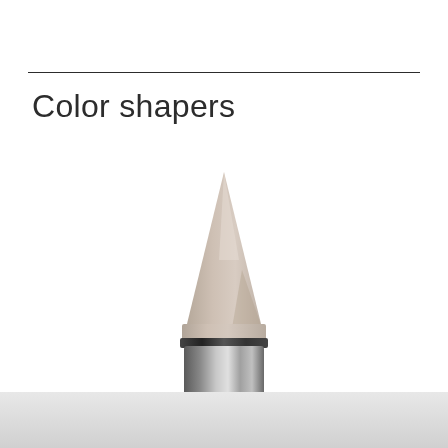Color shapers
[Figure (photo): A close-up photo of a color shaper tool — a pencil-like instrument with a pointed beige/taupe silicone tip and a metallic silver ferrule/collar, shown against a white background with a subtle reflective surface at the bottom.]